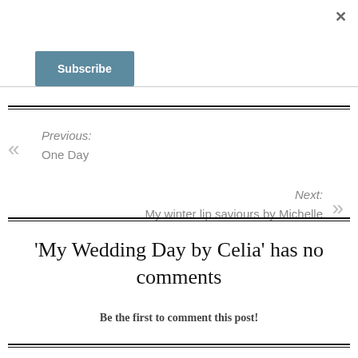×
Subscribe
Previous:
One Day
Next:
My winter lip saviours by Michelle
'My Wedding Day by Celia' has no comments
Be the first to comment this post!